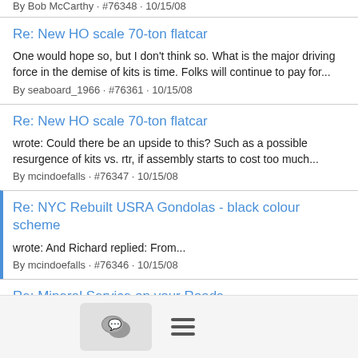By Bob McCarthy · #76348 · 10/15/08
Re: New HO scale 70-ton flatcar
One would hope so, but I don't think so. What is the major driving force in the demise of kits is time. Folks will continue to pay for...
By seaboard_1966 · #76361 · 10/15/08
Re: New HO scale 70-ton flatcar
wrote: Could there be an upside to this? Such as a possible resurgence of kits vs. rtr, if assembly starts to cost too much...
By mcindoefalls · #76347 · 10/15/08
Re: NYC Rebuilt USRA Gondolas - black colour scheme
wrote: And Richard replied: From...
By mcindoefalls · #76346 · 10/15/08
Re: Mineral Service on your Roads
Elden,      It occured to me that my daughter's godfather handle AMAX properties in central GA.  I will check with him about the...